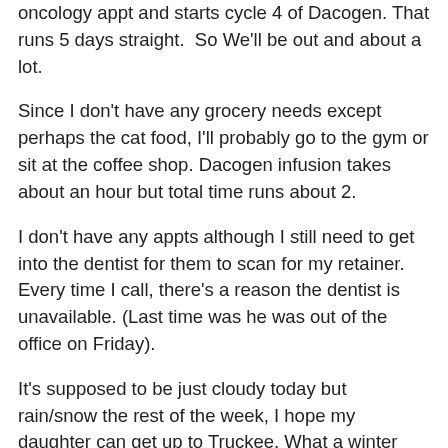oncology appt and starts cycle 4 of Dacogen. That runs 5 days straight.  So We'll be out and about a lot.
Since I don't have any grocery needs except perhaps the cat food, I'll probably go to the gym or sit at the coffee shop. Dacogen infusion takes about an hour but total time runs about 2.
I don't have any appts although I still need to get into the dentist for them to scan for my retainer. Every time I call, there's a reason the dentist is unavailable. (Last time was he was out of the office on Friday).
It's supposed to be just cloudy today but rain/snow the rest of the week, I hope my daughter can get up to Truckee. What a winter this has been. One for the record books.
Next week is daylight savings which I dislike as I like the